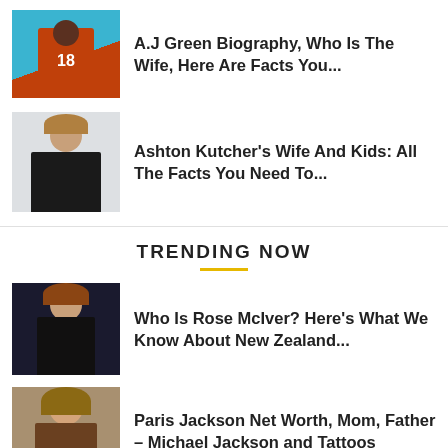[Figure (photo): A.J Green in Cincinnati Bengals jersey #18]
A.J Green Biography, Who Is The Wife, Here Are Facts You...
[Figure (photo): Ashton Kutcher headshot in dark suit]
Ashton Kutcher's Wife And Kids: All The Facts You Need To...
TRENDING NOW
[Figure (photo): Rose McIver at a red carpet event]
Who Is Rose McIver? Here's What We Know About New Zealand...
[Figure (photo): Paris Jackson portrait]
Paris Jackson Net Worth, Mom, Father – Michael Jackson and Tattoos